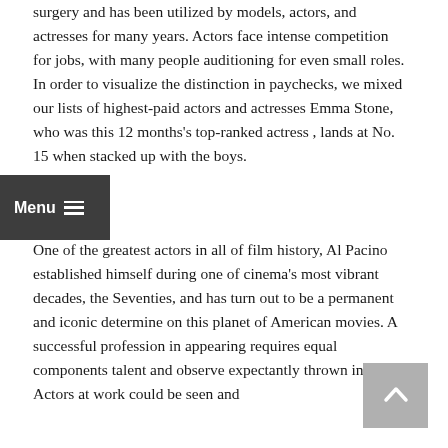surgery and has been utilized by models, actors, and actresses for many years. Actors face intense competition for jobs, with many people auditioning for even small roles. In order to visualize the distinction in paychecks, we mixed our lists of highest-paid actors and actresses Emma Stone, who was this 12 months's top-ranked actress , lands at No. 15 when stacked up with the boys.
One of the greatest actors in all of film history, Al Pacino established himself during one of cinema's most vibrant decades, the Seventies, and has turn out to be a permanent and iconic determine on this planet of American movies. A successful profession in appearing requires equal components talent and observe expectantly thrown in. Actors at work could be seen and